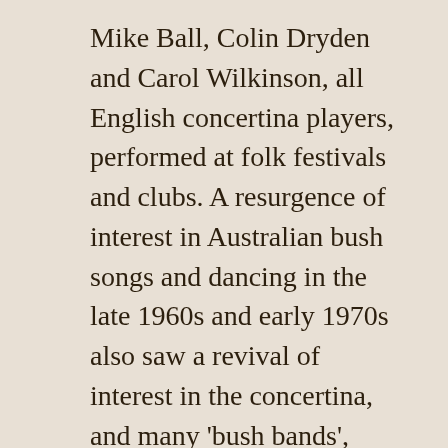Mike Ball, Colin Dryden and Carol Wilkinson, all English concertina players, performed at folk festivals and clubs. A resurgence of interest in Australian bush songs and dancing in the late 1960s and early 1970s also saw a revival of interest in the concertina, and many 'bush bands', revivalist interpreters of bush songs, incorporated a concertina, typically an Anglo-German. You can read about various aspects of the Australian folk revival, including concertina players, at http://www.warrenfahey.com.au/enter-the-collection/australian-folk-revival/
THE CONCERTINA TODAY, AND RESOURCES FOR THE CURIOUS